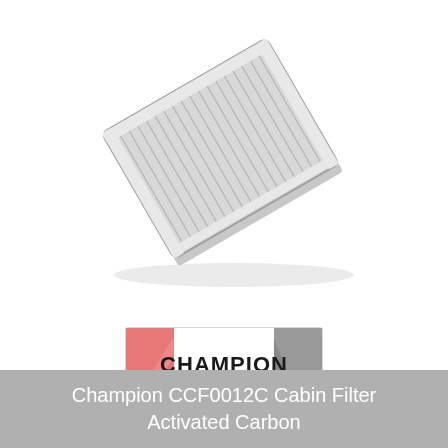[Figure (photo): A cabin air filter product shown at an angle — rectangular, flat, with a corrugated/pleated grey filter medium and white plastic frame edges.]
[Figure (logo): Champion brand logo: a rectangular badge with a pink/salmon triangle on the left, a grey triangle on the right, and 'CHAMPION' text in large dark letters on a white background in the center.]
Champion CCF0012C Cabin Filter Activated Carbon